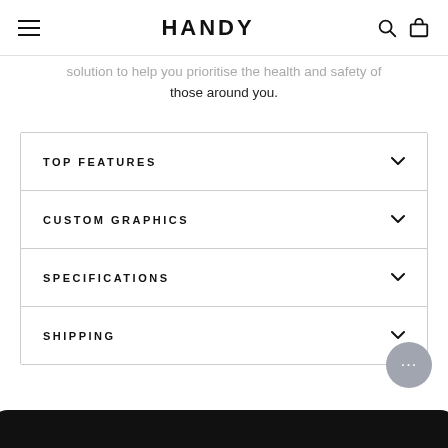HANDY
solution to help you prioritise the health and safety of those around you.
TOP FEATURES
CUSTOM GRAPHICS
SPECIFICATIONS
SHIPPING